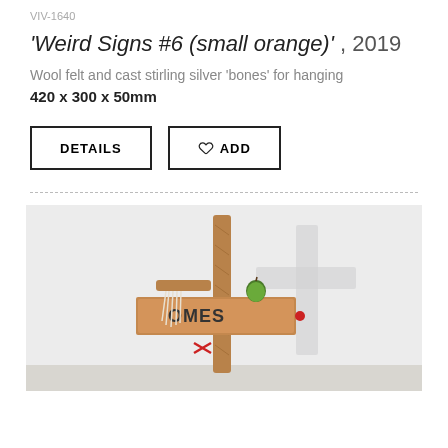VIV-1640
'Weird Signs #6 (small orange)' , 2019
Wool felt and cast stirling silver 'bones' for hanging
420 x 300 x 50mm
[Figure (photo): Photograph of a wooden cross-like sculpture with a sign reading 'COMES', an apple on top, dangling white threads, and red accents, casting a cross-shaped shadow on a white wall.]